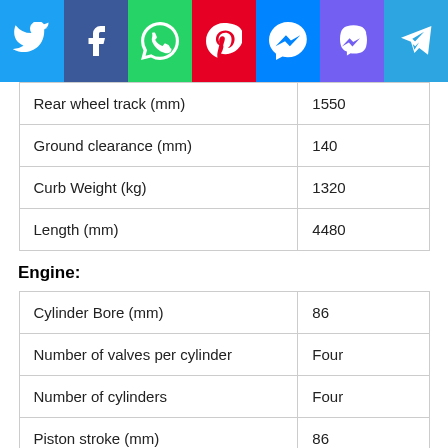[Figure (infographic): Social media sharing icons bar: Twitter, Facebook, WhatsApp, Pinterest, Messenger, Viber, Telegram]
| Rear wheel track (mm) | 1550 |
| Ground clearance (mm) | 140 |
| Curb Weight (kg) | 1320 |
| Length (mm) | 4480 |
Engine:
| Cylinder Bore (mm) | 86 |
| Number of valves per cylinder | Four |
| Number of cylinders | Four |
| Piston stroke (mm) | 86 |
| Maximum torque (N • m) | 188 |
| Maximum torque revolutions, max. (rpm) | 4600 |